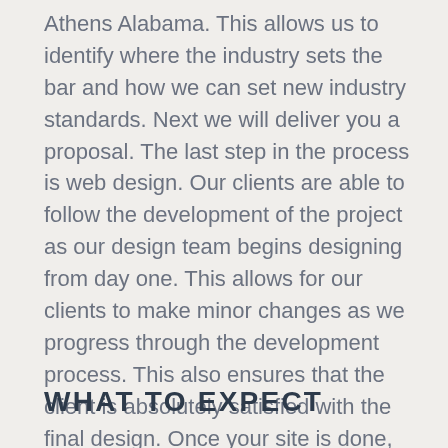Athens Alabama. This allows us to identify where the industry sets the bar and how we can set new industry standards. Next we will deliver you a proposal. The last step in the process is web design. Our clients are able to follow the development of the project as our design team begins designing from day one. This allows for our clients to make minor changes as we progress through the development process. This also ensures that the client is absolutely satisfied with the final design. Once your site is done, we offer training, hosting, security updates and tech support for every website we develop.
WHAT TO EXPECT